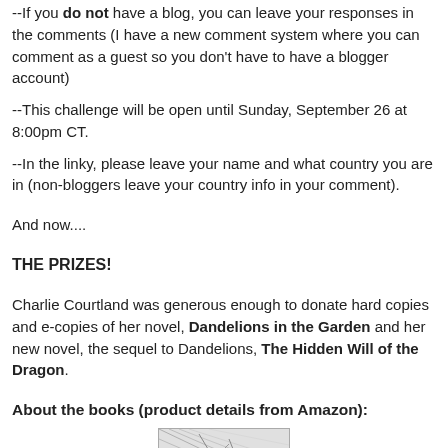--If you do not have a blog, you can leave your responses in the comments (I have a new comment system where you can comment as a guest so you don't have to have a blogger account)
--This challenge will be open until Sunday, September 26 at 8:00pm CT.
--In the linky, please leave your name and what country you are in (non-bloggers leave your country info in your comment).
And now....
THE PRIZES!
Charlie Courtland was generous enough to donate hard copies and e-copies of her novel, Dandelions in the Garden and her new novel, the sequel to Dandelions, The Hidden Will of the Dragon.
About the books (product details from Amazon):
[Figure (photo): Partial view of a book cover image, appears to be in black and white]